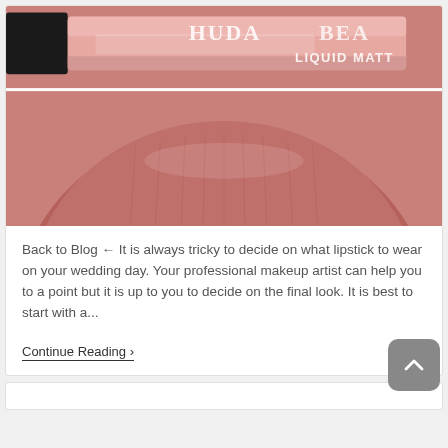[Figure (photo): Close-up photo of a Huda Beauty Liquid Matte lipstick tube in a rosy mauve/terracotta shade, with a close-up of lips wearing the same color below the tube.]
Back to Blog ← It is always tricky to decide on what lipstick to wear on your wedding day. Your professional makeup artist can help you to a point but it is up to you to decide on the final look. It is best to start with a...
Continue Reading ›